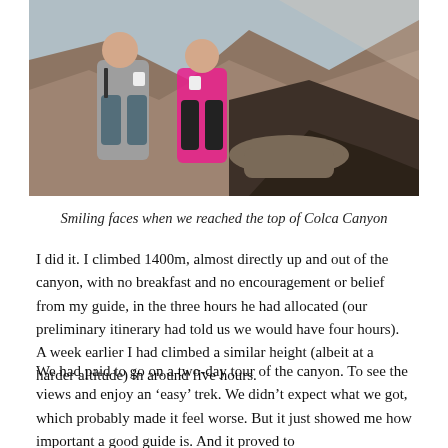[Figure (photo): Two people standing at the top of Colca Canyon, holding cups, with dramatic canyon cliffs and shadows in the background. One person wears a grey shirt, the other a pink top.]
Smiling faces when we reached the top of Colca Canyon
I did it. I climbed 1400m, almost directly up and out of the canyon, with no breakfast and no encouragement or belief from my guide, in the three hours he had allocated (our preliminary itinerary had told us we would have four hours). A week earlier I had climbed a similar height (albeit at a harder altitude) in around five hours.
We had paid to go on a two-day tour of the canyon. To see the views and enjoy an ‘easy’ trek. We didn’t expect what we got, which probably made it feel worse. But it just showed me how important a good guide is. And it proved to